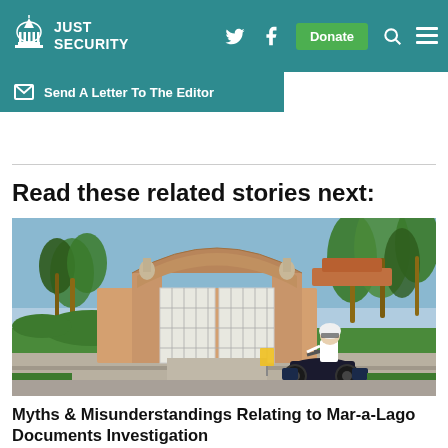JUST SECURITY — Navigation header with logo, Twitter, Facebook, Donate, Search, and Menu icons
Send A Letter To The Editor
Read these related stories next:
[Figure (photo): Photograph of the Mar-a-Lago estate gate with a police officer on a motorcycle in front of the ornate arched entrance, palm trees visible in background]
Myths & Misunderstandings Relating to Mar-a-Lago Documents Investigation
by J. William Leonard